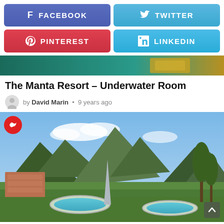[Figure (screenshot): Social share buttons: Facebook (purple-blue), Twitter (light blue), Pinterest (red), LinkedIn (light blue)]
[Figure (photo): Partial top strip of an underwater/resort image with teal water and golden object]
The Manta Resort – Underwater Room
by David Marin • 9 years ago
[Figure (photo): Aerial photo of a mountain resort with circular fountain pools, surrounded by Alps mountains and green valley]